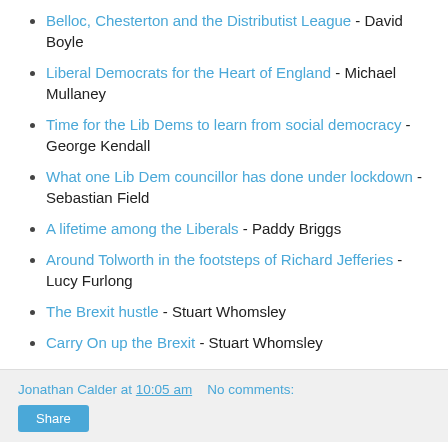Belloc, Chesterton and the Distributist League - David Boyle
Liberal Democrats for the Heart of England - Michael Mullaney
Time for the Lib Dems to learn from social democracy - George Kendall
What one Lib Dem councillor has done under lockdown - Sebastian Field
A lifetime among the Liberals - Paddy Briggs
Around Tolworth in the footsteps of Richard Jefferies - Lucy Furlong
The Brexit hustle - Stuart Whomsley
Carry On up the Brexit - Stuart Whomsley
Jonathan Calder at 10:05 am   No comments:  Share